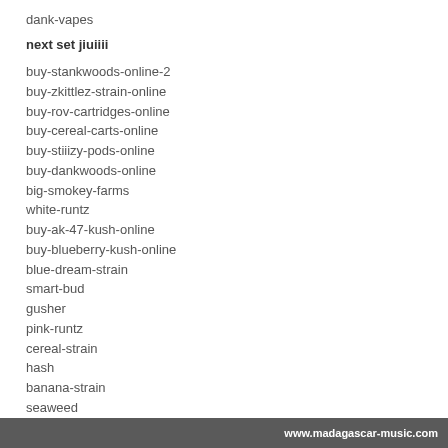dank-vapes
next set jiuiiii
buy-stankwoods-online-2
buy-zkittlez-strain-online
buy-rov-cartridges-online
buy-cereal-carts-online
buy-stiiizy-pods-online
buy-dankwoods-online
big-smokey-farms
white-runtz
buy-ak-47-kush-online
buy-blueberry-kush-online
blue-dream-strain
smart-bud
gusher
pink-runtz
cereal-strain
hash
banana-strain
seaweed
stiiizy
white-strain
vapes
dank-carts
brass-knuckles
buy-moon-rocks-online
www.madagascar-music.com